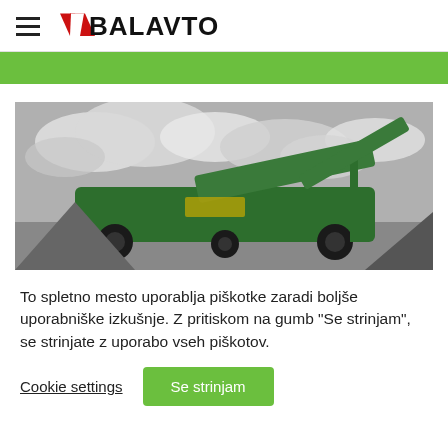BALAVTO
[Figure (photo): Green stripe banner]
[Figure (photo): Black and white photo of a large green industrial crushing/screening machine outdoors with cloudy sky background]
To spletno mesto uporablja piškotke zaradi boljše uporabniške izkušnje. Z pritiskom na gumb "Se strinjam", se strinjate z uporabo vseh piškotov.
Cookie settings   Se strinjam